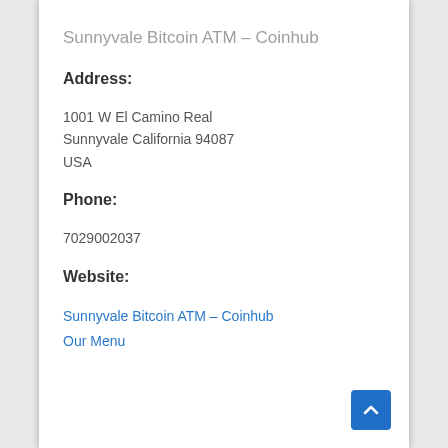Sunnyvale Bitcoin ATM – Coinhub
Address:
1001 W El Camino Real
Sunnyvale California 94087
USA
Phone:
7029002037
Website:
Sunnyvale Bitcoin ATM – Coinhub
Our Menu